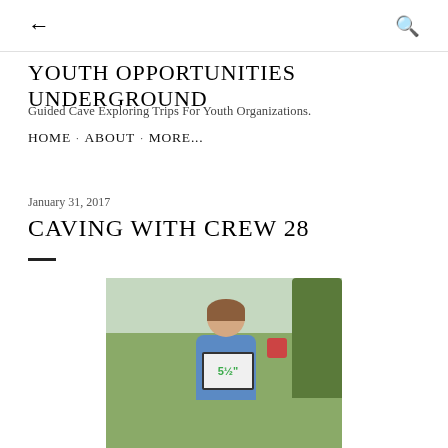← [back] [search icon]
YOUTH OPPORTUNITIES UNDERGROUND
Guided Cave Exploring Trips For Youth Organizations.
HOME · ABOUT · MORE...
January 31, 2017
CAVING WITH CREW 28
[Figure (photo): A young woman smiling and holding a whiteboard sign with '5½"' written on it in green marker, standing outdoors with trees and a field in the background.]